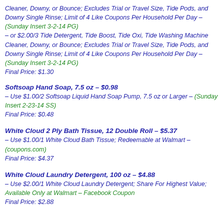Cleaner, Downy, or Bounce; Excludes Trial or Travel Size, Tide Pods, and Downy Single Rinse; Limit of 4 Like Coupons Per Household Per Day – (Sunday Insert 3-2-14 PG) – or $2.00/3 Tide Detergent, Tide Boost, Tide Oxi, Tide Washing Machine Cleaner, Downy, or Bounce; Excludes Trial or Travel Size, Tide Pods, and Downy Single Rinse; Limit of 4 Like Coupons Per Household Per Day – (Sunday Insert 3-2-14 PG) Final Price: $1.30
Softsoap Hand Soap, 7.5 oz – $0.98 – Use $1.00/2 Softsoap Liquid Hand Soap Pump, 7.5 oz or Larger – (Sunday Insert 2-23-14 SS) Final Price: $0.48
White Cloud 2 Ply Bath Tissue, 12 Double Roll – $5.37 – Use $1.00/1 White Cloud Bath Tissue; Redeemable at Walmart – (coupons.com) Final Price: $4.37
White Cloud Laundry Detergent, 100 oz – $4.88 – Use $2.00/1 White Cloud Laundry Detergent; Share For Highest Value; Available Only at Walmart – Facebook Coupon Final Price: $2.88